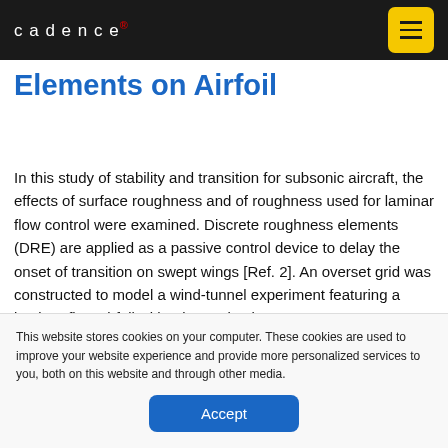cadence
Elements on Airfoil
In this study of stability and transition for subsonic aircraft, the effects of surface roughness and of roughness used for laminar flow control were examined. Discrete roughness elements (DRE) are applied as a passive control device to delay the onset of transition on swept wings [Ref. 2]. An overset grid was constructed to model a wind-tunnel experiment featuring a laminar-flow airfoil with micron-sized
This website stores cookies on your computer. These cookies are used to improve your website experience and provide more personalized services to you, both on this website and through other media.
Accept